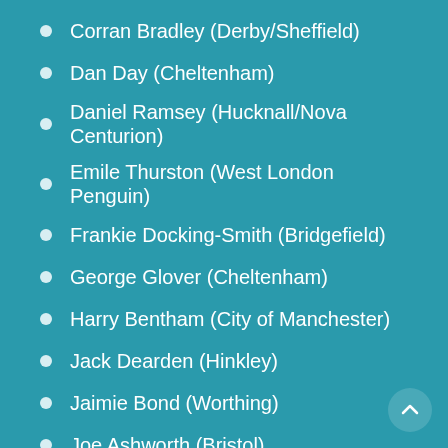Corran Bradley (Derby/Sheffield)
Dan Day (Cheltenham)
Daniel Ramsey (Hucknall/Nova Centurion)
Emile Thurston (West London Penguin)
Frankie Docking-Smith (Bridgefield)
George Glover (Cheltenham)
Harry Bentham (City of Manchester)
Jack Dearden (Hinkley)
Jaimie Bond (Worthing)
Joe Ashworth (Bristol)
Josh Luff (Kingston/Worthing)
Lorcan Halstead (Warley)
Marcus Woods (Bridgefield)